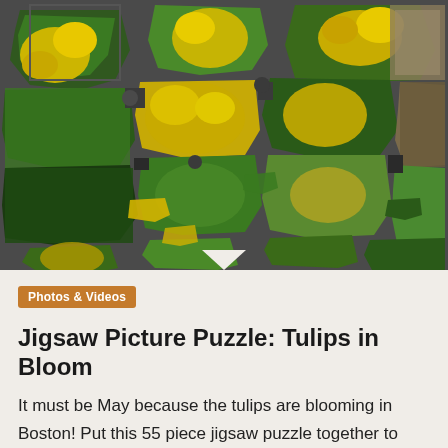[Figure (photo): A jigsaw puzzle showing yellow tulips and green foliage in Boston's Columbus Park, with puzzle pieces scattered on a grey background]
Photos & Videos
Jigsaw Picture Puzzle: Tulips in Bloom
It must be May because the tulips are blooming in Boston! Put this 55 piece jigsaw puzzle together to see the display at Columbus park. How to play: Move and drag the pieces around just like a regular jigsaw puzzle. When two pieces